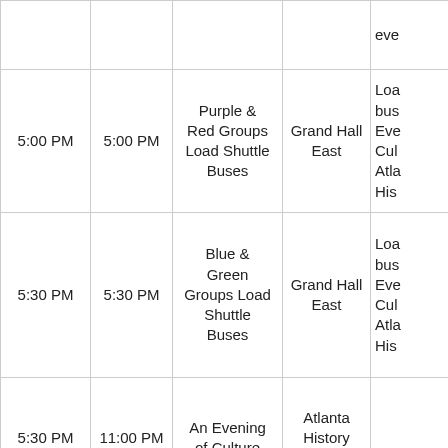| Start | End | Event | Location | Notes |
| --- | --- | --- | --- | --- |
|  |  |  |  | eve... |
| 5:00 PM | 5:00 PM | Purple & Red Groups Load Shuttle Buses | Grand Hall East | Loa... bus... Eve... Cul... Atla... His... |
| 5:30 PM | 5:30 PM | Blue & Green Groups Load Shuttle Buses | Grand Hall East | Loa... bus... Eve... Cul... Atla... His... |
| 5:30 PM | 11:00 PM | An Evening of Culture | Atlanta History Center |  |
| 11:30 PM | 11:59 PM | State Meetings | Assigned Rooms |  |